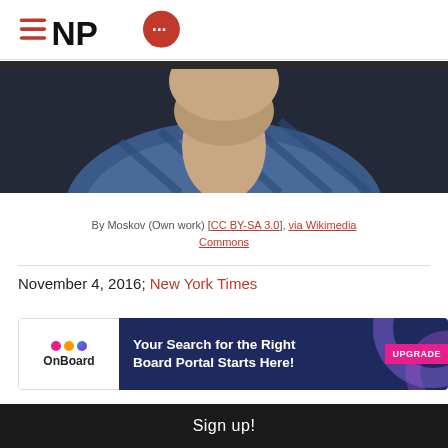[Figure (logo): NPQ (Nonprofit Quarterly) logo with hamburger menu icon and red speech bubble]
[Figure (photo): Cropped photo of a person wearing a blue plaid shirt, showing neck and upper chest area, dark background]
By Moskov (Own work) [CC BY-SA 3.0], via Wikimedia Commons
November 4, 2016; New York Times
[Figure (other): OnBoard advertisement banner: 'Your Search for the Right Board Portal Starts Here!' with UPGRADE badge]
Sign up!